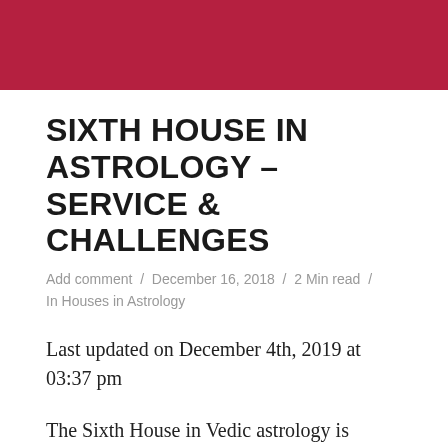SIXTH HOUSE IN ASTROLOGY – SERVICE & CHALLENGES
Add comment / December 16, 2018 / 2 Min read / In Houses in Astrology
Last updated on December 4th, 2019 at 03:37 pm
The Sixth House in Vedic astrology is mainly connected to challenges, service, health, enemies, obstacles, and debt. The Sixth House